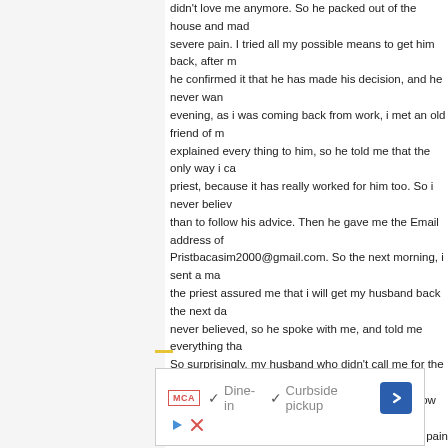didn't love me anymore. So he packed out of the house and made me go severe pain. I tried all my possible means to get him back, after he confirmed it that he has made his decision, and he never wan evening, as i was coming back from work, i met an old friend of m explained every thing to him, so he told me that the only way i ca priest, because it has really worked for him too. So i never believ than to follow his advice. Then he gave me the Email address of Pristbacasim2000@gmail.com. So the next morning, i sent a ma the priest assured me that i will get my husband back the next da never believed, so he spoke with me, and told me everything tha So surprisingly, my husband who didn't call me for the past 7 mo he was coming back. So Amazing!! So that was how he came ba joy, and he apologized for his mistake, and for the pain he cause day, our relationship was now stronger than how it were before, b you out there if you have any problem contact Priestbacasim, i gi help you.. Email him at: Pristbacasim2000@gmail.com or Whats.
4/21/2021 3:00 AM
Lizzy Desler said...
[Figure (screenshot): Advertisement box showing MCA badge, checkmarks for Dine-in and Curbside pickup options, a blue navigation diamond arrow button, and play/close icons at the bottom left.]